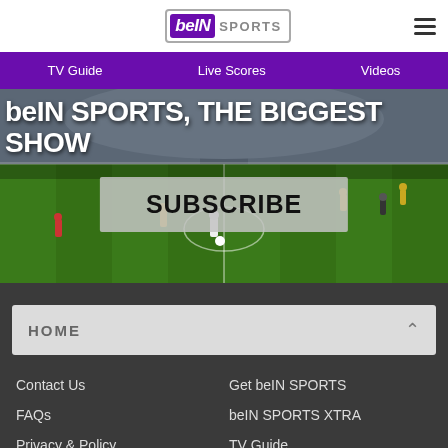[Figure (logo): beIN SPORTS logo — purple rounded rectangle with 'beIN' in white italic on dark purple background, 'SPORTS' in grey text beside it, enclosed in a light border box]
[Figure (screenshot): Navigation header showing hamburger menu icon (three horizontal lines)]
TV Guide   Live Scores   Videos
[Figure (photo): Football/soccer match action photo showing players on a green pitch inside a packed stadium, overlaid with hero text and subscribe button]
beIN SPORTS, THE BIGGEST SHOW
SUBSCRIBE
HOME
Contact Us
Get beIN SPORTS
FAQs
beIN SPORTS XTRA
Privacy & Policy
TV Guide